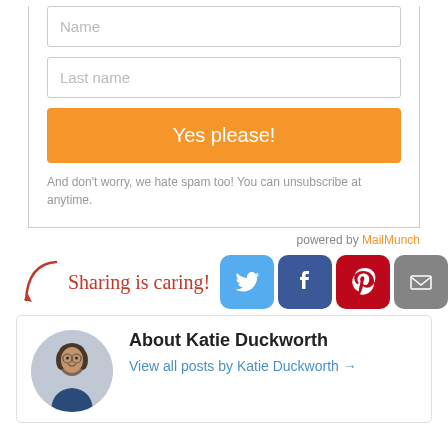Name
Last name
Yes please!
And don't worry, we hate spam too! You can unsubscribe at anytime.
powered by MailMunch
[Figure (infographic): Sharing is caring! text with arrow and social media buttons: Twitter, Facebook, Pinterest, Email, Share]
About Katie Duckworth
View all posts by Katie Duckworth →
[Figure (photo): Circular avatar photo of Katie Duckworth]